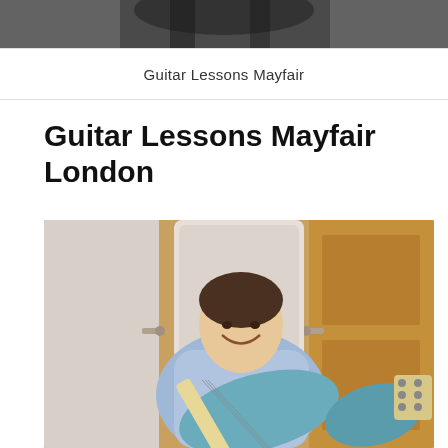[Figure (photo): Top partial photo of a guitar or person, cropped at top of page]
Guitar Lessons Mayfair
Guitar Lessons Mayfair London
[Figure (photo): Man sitting and smiling while holding a light blue Fender electric guitar, wearing a light blue button-up shirt, with wooden doors and a mirror visible in the background]